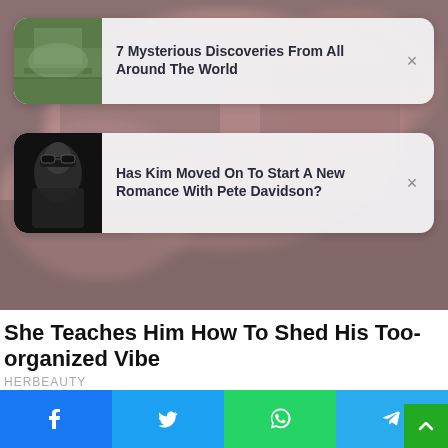[Figure (screenshot): Background blurred photo of people]
7 Mysterious Discoveries From All Around The World
Has Kim Moved On To Start A New Romance With Pete Davidson?
She Teaches Him How To Shed His Too-organized Vibe
HERBEAUTY
[Figure (photo): Partial image strip of a fashion/lifestyle photo]
[Figure (infographic): Social share bar with Facebook, Twitter, WhatsApp, Telegram buttons]